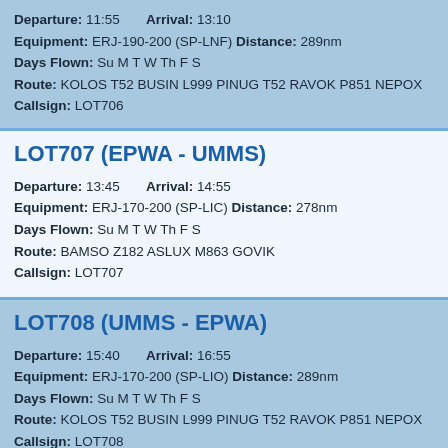Departure: 11:55   Arrival: 13:10
Equipment: ERJ-190-200 (SP-LNF) Distance: 289nm
Days Flown: Su M T W Th F S
Route: KOLOS T52 BUSIN L999 PINUG T52 RAVOK P851 NEPOX
Callsign: LOT706
LOT707 (EPWA - UMMS)
Departure: 13:45   Arrival: 14:55
Equipment: ERJ-170-200 (SP-LIC) Distance: 278nm
Days Flown: Su M T W Th F S
Route: BAMSO Z182 ASLUX M863 GOVIK
Callsign: LOT707
LOT708 (UMMS - EPWA)
Departure: 15:40   Arrival: 16:55
Equipment: ERJ-170-200 (SP-LIO) Distance: 289nm
Days Flown: Su M T W Th F S
Route: KOLOS T52 BUSIN L999 PINUG T52 RAVOK P851 NEPOX
Callsign: LOT708
LOT71 (EPWA - VIDP)